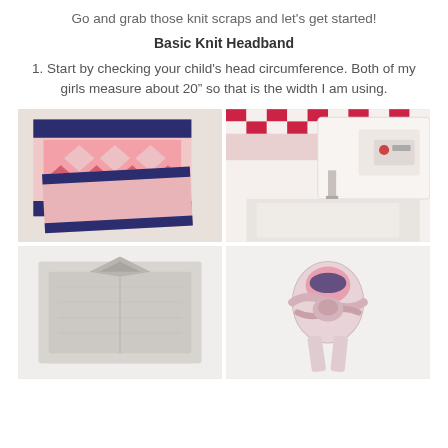Go and grab those knit scraps and let's get started!
Basic Knit Headband
1. Start by checking your child's head circumference. Both of my girls measure about 20" so that is the width I am using.
[Figure (photo): Four photos showing steps to make a knit headband: top-left shows folded pink/navy Aztec patterned knit fabric; top-right shows fabric being sewn at a sewing machine; bottom-left shows grey fabric folded/pinned; bottom-right shows the fabric twisted/knotted.]